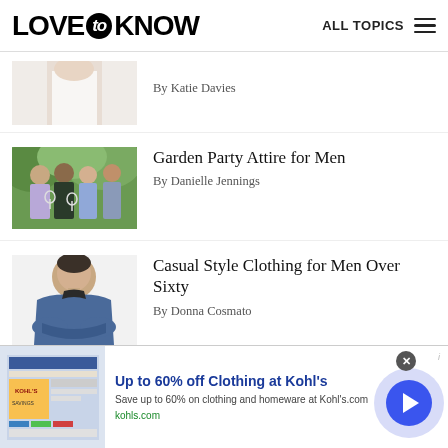LOVE to KNOW   ALL TOPICS
[Figure (photo): Partial photo of a woman in a white tank top from behind (cropped)]
By Katie Davies
[Figure (photo): Group of men and women at a garden party outdoors holding wine glasses]
Garden Party Attire for Men
By Danielle Jennings
[Figure (photo): Man in blue casual fleece jacket with arms crossed]
Casual Style Clothing for Men Over Sixty
By Donna Cosmato
[Figure (screenshot): Advertisement banner: Up to 60% off Clothing at Kohl's — Save up to 60% on clothing and homeware at Kohl's.com — kohls.com]